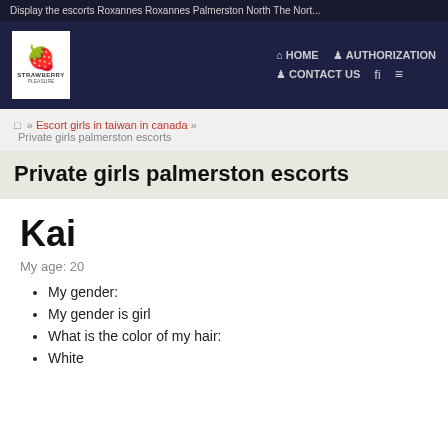Display the escorts Roxannes Roxannes Palmerston North The Nort...
[Figure (logo): Strawberry escort website logo with strawberry icon and text]
HOME  AUTHORIZATION  CONTACT US
□ » Escort girls in taiwan in canada » Private girls palmerston escorts
Private girls palmerston escorts
Kai
My age: 20
My gender:
My gender is girl
What is the color of my hair:
White